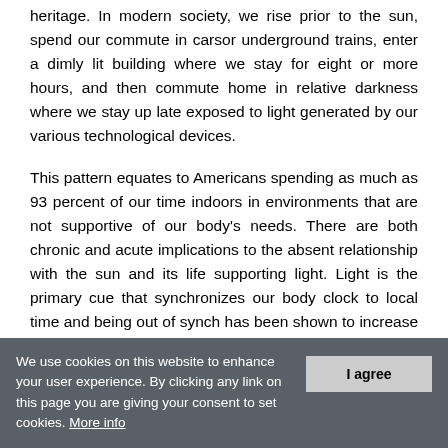heritage. In modern society, we rise prior to the sun, spend our commute in carsor underground trains, enter a dimly lit building where we stay for eight or more hours, and then commute home in relative darkness where we stay up late exposed to light generated by our various technological devices.
This pattern equates to Americans spending as much as 93 percent of our time indoors in environments that are not supportive of our body's needs. There are both chronic and acute implications to the absent relationship with the sun and its life supporting light. Light is the primary cue that synchronizes our body clock to local time and being out of synch has been shown to increase the occurrence of breast cancer, type 2 diabetes, depression, cardiovascular diseaseand stress. Acutely, inappropriate light exposure can result in poor sleep, ill moods, and reduction of overall
We use cookies on this website to enhance your user experience. By clicking any link on this page you are giving your consent to set cookies. More info